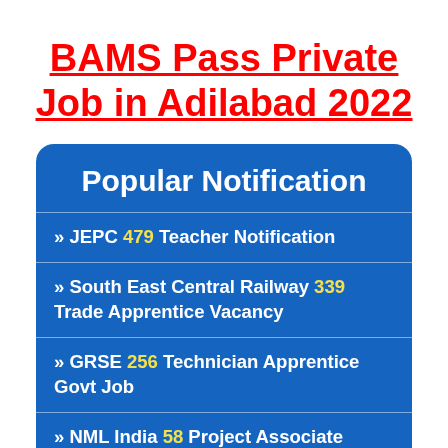BAMS Pass Private Job in Adilabad 2022
Popular Notification
» JEPC 479 Teacher Notification
» South East Central Railway 339 Trade Apprentice Vacancy
» GRSE 256 Technician Apprentice Govt Job
» NML India 58 Project Associate Bharti